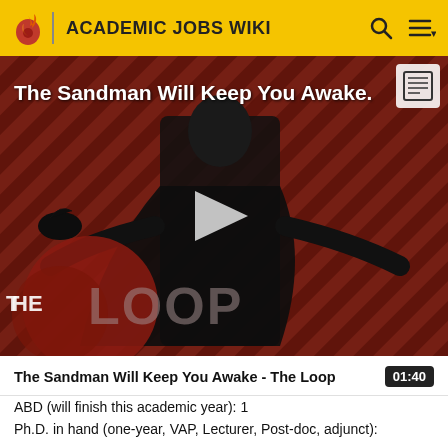ACADEMIC JOBS WIKI
[Figure (screenshot): Video thumbnail for 'The Sandman Will Keep You Awake - The Loop' showing a dark-cloaked figure against a red diagonal stripe background with 'THE LOOP' text overlay and a play button in the center.]
The Sandman Will Keep You Awake - The Loop  01:40
ABD (will finish this academic year): 1
Ph.D. in hand (one-year, VAP, Lecturer, Post-doc, adjunct): 0